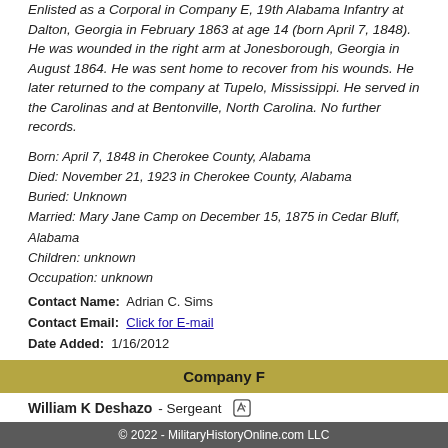Enlisted as a Corporal in Company E, 19th Alabama Infantry at Dalton, Georgia in February 1863 at age 14 (born April 7, 1848). He was wounded in the right arm at Jonesborough, Georgia in August 1864. He was sent home to recover from his wounds. He later returned to the company at Tupelo, Mississippi. He served in the Carolinas and at Bentonville, North Carolina. No further records.
Born: April 7, 1848 in Cherokee County, Alabama
Died: November 21, 1923 in Cherokee County, Alabama
Buried: Unknown
Married: Mary Jane Camp on December 15, 1875 in Cedar Bluff, Alabama
Children: unknown
Occupation: unknown
Contact Name:  Adrian C. Sims
Contact Email:  Click for E-mail
Date Added:  1/16/2012
Company F
William K Deshazo - Sergeant
Rank Out:
© 2022 - MilitaryHistoryOnline.com LLC